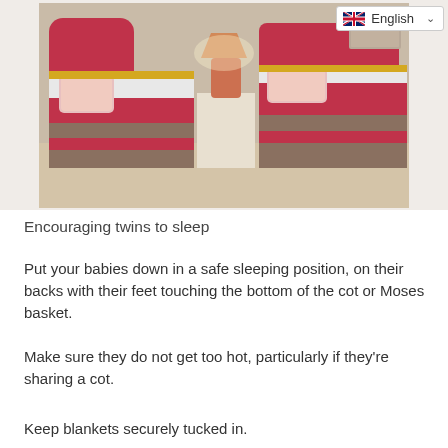[Figure (photo): Two twin beds with red/pink and patterned bedding, a nightstand with a lamp between them, in a bedroom with beige carpet and walls.]
Encouraging twins to sleep
Put your babies down in a safe sleeping position, on their backs with their feet touching the bottom of the cot or Moses basket.
Make sure they do not get too hot, particularly if they're sharing a cot.
Keep blankets securely tucked in.